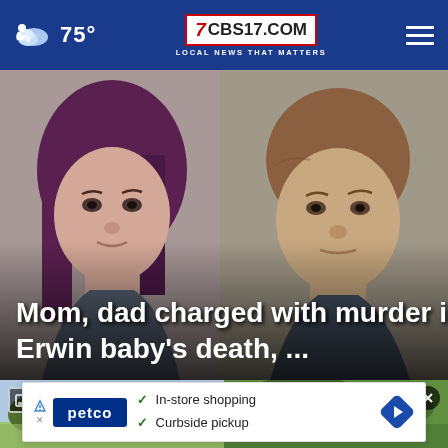75° CBS17.COM LOCAL NEWS THAT MATTERS
[Figure (photo): Mugshot photo of a woman with purple/dark hair on the left and a man with brown hair on the right, both appearing to be arrest photos against a gray background. Text overlay reads: Mom, dad charged with murder in Erwin baby's death, ...]
Mom, dad charged with murder in Erwin baby's death, ...
[Figure (photo): Two thumbnail images at the bottom: left shows a landscape/field scene with a gallery icon, right shows a green tree/outdoor scene with a play button and close (X) button]
In-store shopping
Curbside pickup